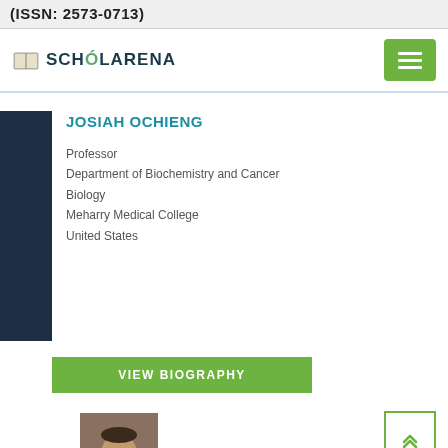(ISSN: 2573-0713)
[Figure (logo): ScholarArena logo with book icon and hamburger menu button]
JOSIAH OCHIENG
Professor
Department of Biochemistry and Cancer Biology
Meharry Medical College
United States
VIEW BIOGRAPHY
[Figure (photo): Portrait photo of a man in a suit with bow tie]